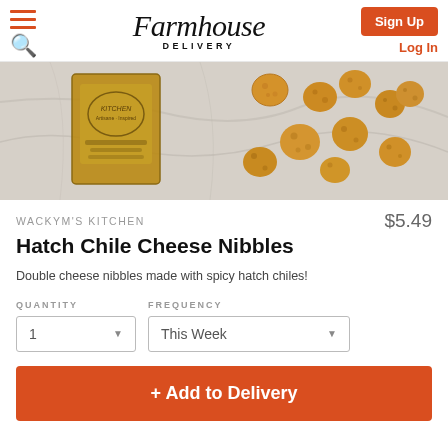Farmhouse Delivery — Sign Up | Log In
[Figure (photo): Product photo of Hatch Chile Cheese Nibbles from Wackym's Kitchen, showing small golden-brown round cheese puffs scattered on a marble surface next to the product packaging box.]
WACKYM'S KITCHEN
$5.49
Hatch Chile Cheese Nibbles
Double cheese nibbles made with spicy hatch chiles!
QUANTITY
FREQUENCY
+ Add to Delivery